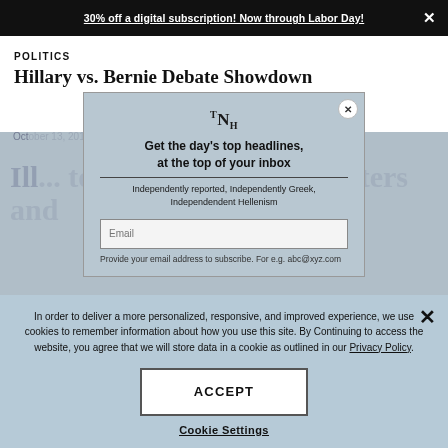30% off a digital subscription! Now through Labor Day! ×
POLITICS
Hillary vs. Bernie Debate Showdown
October 13, 2015 | By The National Herald Archive
[Figure (screenshot): Newsletter subscription modal overlay with TNH logo, headline 'Get the day's top headlines, at the top of your inbox', tagline 'Independently reported, Independently Greek, Independendent Hellenism', and email input field]
Provide your email address to subscribe. For e.g. abc@xyz.com
In order to deliver a more personalized, responsive, and improved experience, we use cookies to remember information about how you use this site. By Continuing to access the website, you agree that we will store data in a cookie as outlined in our Privacy Policy.
ACCEPT
Cookie Settings